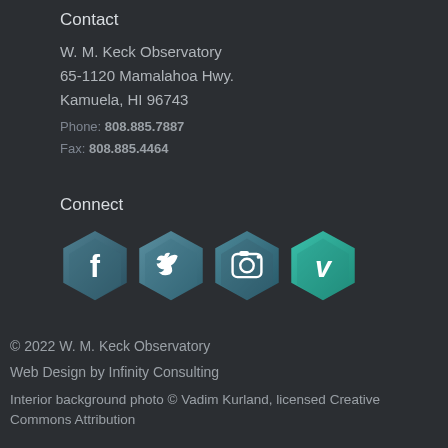Contact
W. M. Keck Observatory
65-1120 Mamalahoa Hwy.
Kamuela, HI 96743
Phone: 808.885.7887
Fax: 808.885.4464
Connect
[Figure (infographic): Four hexagonal social media icons: Facebook (f), Twitter (bird), Instagram (camera), Vimeo (v) in teal/dark teal gradient colors]
© 2022 W. M. Keck Observatory
Web Design by Infinity Consulting
Interior background photo © Vadim Kurland, licensed Creative Commons Attribution